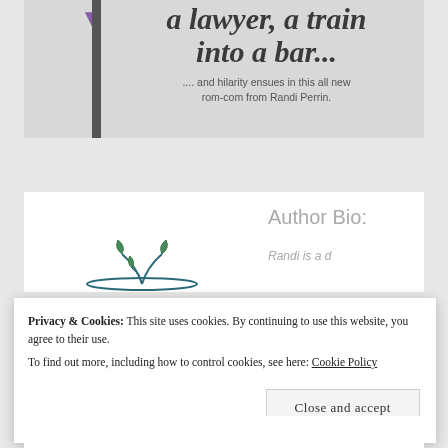[Figure (illustration): Partial book cover showing italic bold title text 'a lawyer, a train into a bar...' with a purple heart icon and a grey book spine on the left. Subtitle reads '.... and hilarity ensues in this all new rom-com from Randi Perrin.']
Author Bio:
[Figure (photo): Partial author photo showing a decorative floral/branch logo or image at the bottom of a white box]
Privacy & Cookies: This site uses cookies. By continuing to use this website, you agree to their use.
To find out more, including how to control cookies, see here: Cookie Policy
Close and accept